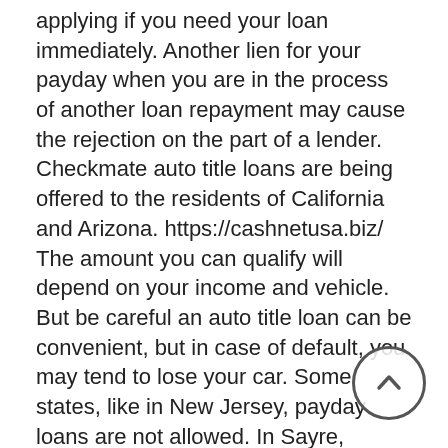applying if you need your loan immediately. Another lien for your payday when you are in the process of another loan repayment may cause the rejection on the part of a lender. Checkmate auto title loans are being offered to the residents of California and Arizona. https://cashnetusa.biz/ The amount you can qualify will depend on your income and vehicle. But be careful an auto title loan can be convenient, but in case of default, you may tend to lose your car. Some states, like in New Jersey, payday loans are not allowed. In Sayre, payday loans are allowed but with some restrictions.
Nonpayment of credit could result in collection activities. Every lender has its own renewal policy, which may differ from lender to lender. Because the payday loan is supported by many, they are available in many locations of the city. You just